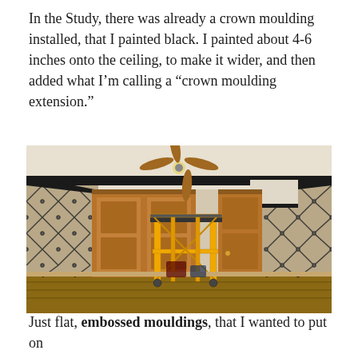In the Study, there was already a crown moulding installed, that I painted black. I painted about 4-6 inches onto the ceiling, to make it wider, and then added what I'm calling a “crown moulding extension.”
[Figure (photo): Interior room photo showing a study with black crown moulding along the ceiling edge, patterned wallpaper with diamond lattice design in dark and light tones, wooden built-in cabinetry and a wooden door, a yellow metal scaffolding unit in the center of the room, a ceiling fan with light fixture, and hardwood floors.]
Just flat, embossed mouldings, that I wanted to put on